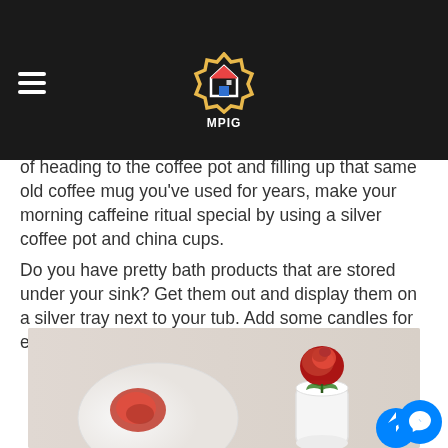Isn't it wonderful to be at an upscale hotel or quaint bed and breakfast where they serve your morning coffee from a silver carafe? You can do the same thing at home! Instead of heading to the coffee pot and filling up that same old coffee mug you've used for years, make your morning caffeine ritual special by using a silver coffee pot and china cups.
Do you have pretty bath products that are stored under your sink? Get them out and display them on a silver tray next to your tub. Add some candles for extra romance.
[Figure (photo): Photo of a white plate with a strawberry dessert on the left and a red rose in a white cylindrical vase on the right, on a light background. A blue Facebook Messenger button is visible in the bottom right corner.]